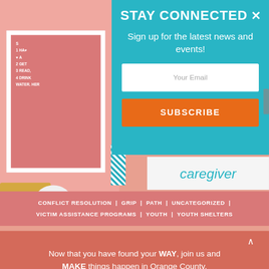STAY CONNECTED
Sign up for the latest news and events!
Your Email
SUBSCRIBE
caregiver
CONFLICT RESOLUTION | GRIP | PATH | UNCATEGORIZED | VICTIM ASSISTANCE PROGRAMS | YOUTH | YOUTH SHELTERS
Now that you have found your WAY, join us and MAKE things happen in Orange County.